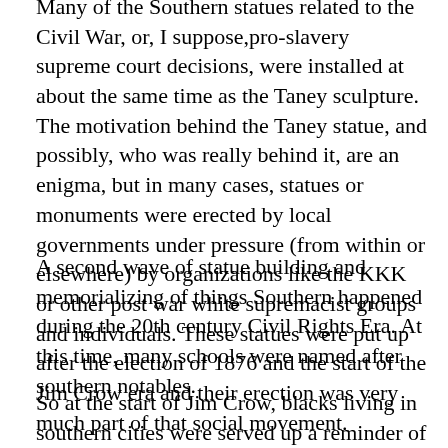Many of the Southern statues related to the Civil War, or, I suppose, pro-slavery supreme court decisions, were installed at about the same time as the Taney sculpture. The motivation behind the Taney statue, and possibly, who was really behind it, are an enigma, but in many cases, statues or monuments were erected by local governments under pressure (from within or elsewhere) by organizations like the KKK or other post war white supremacist groups and individuals. These statues were put up after the election of 1876 and the start of the Jim Crow era and their erection was very much part of that social movement.
A second wave of statue building and memorializing of things Southern happened during the 20th century Civil Rights Era. At this time, many schools were named after southern notables.
So at the start of Jim Crow, blacks living in southern cities were served up a reminder of their place in southern society.